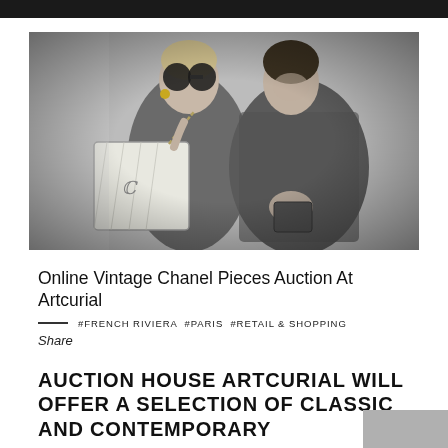[Figure (photo): Black and white vintage photo of two women with Chanel accessories. One woman wearing sunglasses holds a Chanel handbag with chain strap, the other woman in a tweed jacket looks down at her bag.]
Online Vintage Chanel Pieces Auction At Artcurial
#FRENCH RIVIERA #PARIS #RETAIL & SHOPPING
Share
AUCTION HOUSE ARTCURIAL WILL OFFER A SELECTION OF CLASSIC AND CONTEMPORARY